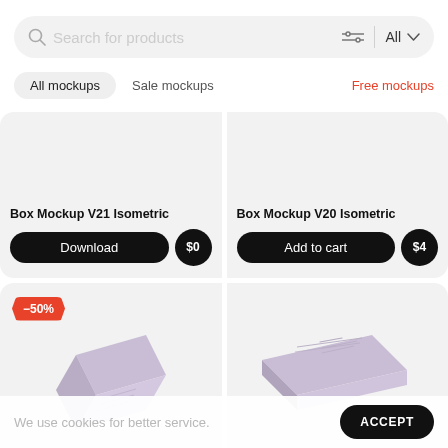[Figure (screenshot): Search bar with placeholder text 'Search for products', filter icon, and 'All' dropdown]
All mockups
Sale mockups
Free mockups
Box Mockup V21 Isometric
Download
$0
Box Mockup V20 Isometric
Add to cart
$4
-50%
We use cookies for better service.
ACCEPT